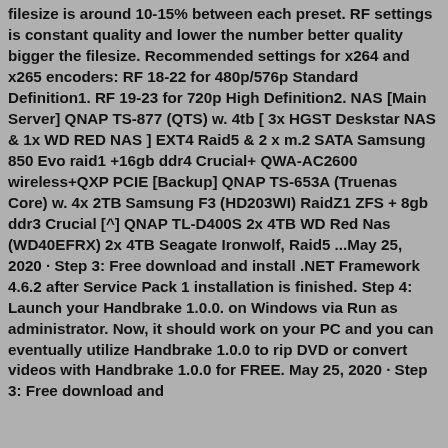filesize is around 10-15% between each preset. RF settings is constant quality and lower the number better quality bigger the filesize. Recommended settings for x264 and x265 encoders: RF 18-22 for 480p/576p Standard Definition1. RF 19-23 for 720p High Definition2. NAS [Main Server] QNAP TS-877 (QTS) w. 4tb [ 3x HGST Deskstar NAS & 1x WD RED NAS ] EXT4 Raid5 & 2 x m.2 SATA Samsung 850 Evo raid1 +16gb ddr4 Crucial+ QWA-AC2600 wireless+QXP PCIE [Backup] QNAP TS-653A (Truenas Core) w. 4x 2TB Samsung F3 (HD203WI) RaidZ1 ZFS + 8gb ddr3 Crucial [^] QNAP TL-D400S 2x 4TB WD Red Nas (WD40EFRX) 2x 4TB Seagate Ironwolf, Raid5 ...May 25, 2020 · Step 3: Free download and install .NET Framework 4.6.2 after Service Pack 1 installation is finished. Step 4: Launch your Handbrake 1.0.0. on Windows via Run as administrator. Now, it should work on your PC and you can eventually utilize Handbrake 1.0.0 to rip DVD or convert videos with Handbrake 1.0.0 for FREE. May 25, 2020 · Step 3: Free download and